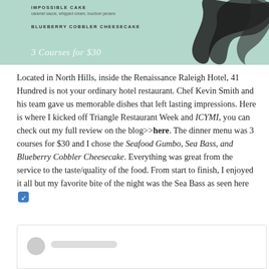[Figure (other): Mint green menu card with text 'IMPOSSIBLE CAKE - caramel sauce, whipped cream, bourbon pecans' and 'BLUEBERRY COBBLER CHEESECAKE' with script text '3 Courses for $30' and black brush stroke decoration]
Located in North Hills, inside the Renaissance Raleigh Hotel, 41 Hundred is not your ordinary hotel restaurant. Chef Kevin Smith and his team gave us memorable dishes that left lasting impressions. Here is where I kicked off Triangle Restaurant Week and ICYMI, you can check out my full review on the blog>>here. The dinner menu was 3 courses for $30 and I chose the Seafood Gumbo, Sea Bass, and Blueberry Cobbler Cheesecake. Everything was great from the service to the taste/quality of the food. From start to finish, I enjoyed it all but my favorite bite of the night was the Sea Bass as seen here 🔗
[Figure (screenshot): Comment box with grey avatar circle and grey name bar placeholder]